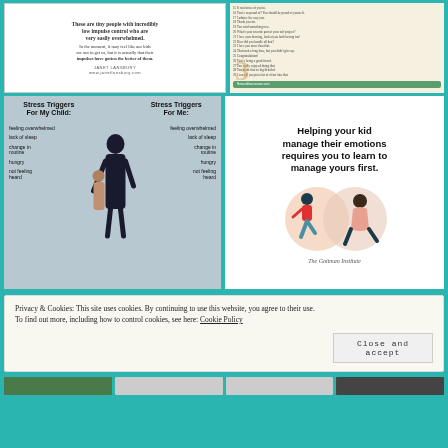[Figure (illustration): Janet Lansbury quote card: 'These are tiny people with incredibly low impulse control who are very easily overwhelmed. In the moment, it may feel like our kids are out to get us, but it is actually that their impulses have gotten the better of them.' JANET LANSBURY www.janetlansbury.com]
[Figure (infographic): Numbered list infographic (section 3) on beige background with items about praise phrases and a green button for rewards/resources, including text like 'It was brave of you to:', 'You're so proud of? You should be proud of yourself', etc.]
[Figure (infographic): Stress Triggers For My Child vs Stress Triggers For Me infographic with photo of mother and child. Lists: feeling overwhelmed, lack of sleep, change in routine, hungry, not feeling heard on both sides.]
[Figure (illustration): The Gottman Institute graphic. Text: 'Helping your kid manage their emotions requires you to learn to manage yours first.' Illustration shows two overlapping circles with a child figure in red and an adult figure.]
Privacy & Cookies: This site uses cookies. By continuing to use this website, you agree to their use. To find out more, including how to control cookies, see here: Cookie Policy
Close and accept